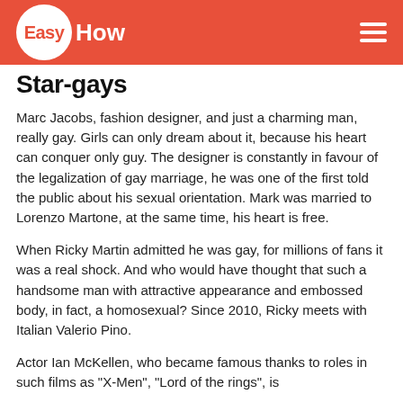EasyHow
Star-gays
Marc Jacobs, fashion designer, and just a charming man, really gay. Girls can only dream about it, because his heart can conquer only guy. The designer is constantly in favour of the legalization of gay marriage, he was one of the first told the public about his sexual orientation. Mark was married to Lorenzo Martone, at the same time, his heart is free.
When Ricky Martin admitted he was gay, for millions of fans it was a real shock. And who would have thought that such a handsome man with attractive appearance and embossed body, in fact, a homosexual? Since 2010, Ricky meets with Italian Valerio Pino.
Actor Ian McKellen, who became famous thanks to roles in such films as "X-Men", "Lord of the rings", is